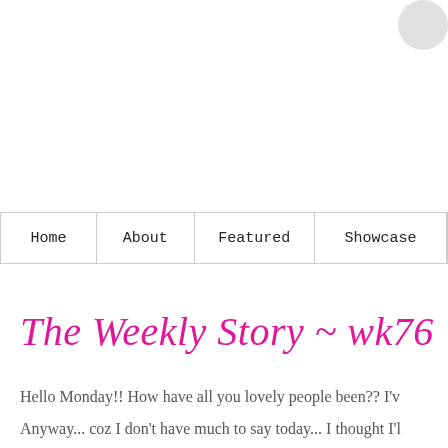[Figure (photo): Top area with white background and partial decorative circular element in top-right corner]
Home   About   Featured   Showcase
The Weekly Story ~ wk76
Hello Monday!! How have all you lovely people been?? I'v
Anyway... coz I don't have much to say today... I thought I'l